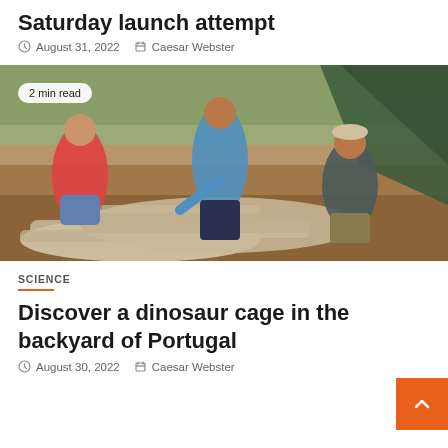Saturday launch attempt
August 31, 2022   Caesar Webster
[Figure (photo): Three people examining large dinosaur fossil bones at an outdoor excavation site. A woman in red shirt sits on the left, a man in blue shirt leans over pointing at the fossils in the center, and another man crouches on the right. Badge overlay reads '2 min read'.]
SCIENCE
Discover a dinosaur cage in the backyard of Portugal
August 30, 2022   Caesar Webster